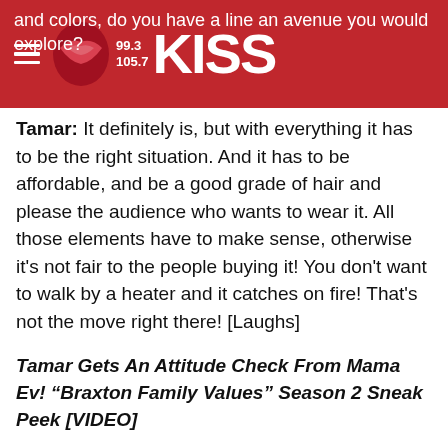99.3 / 105.7 KISS
and colors, do you have a line an avenue you would explore?
Tamar: It definitely is, but with everything it has to be the right situation. And it has to be affordable, and be a good grade of hair and please the audience who wants to wear it. All those elements have to make sense, otherwise it’s not fair to the people buying it! You don’t want to walk by a heater and it catches on fire! That’s not the move right there! [Laughs]
Tamar Gets An Attitude Check From Mama Ev! “Braxton Family Values” Season 2 Sneak Peek [VIDEO]
TAMAR BRAXTON